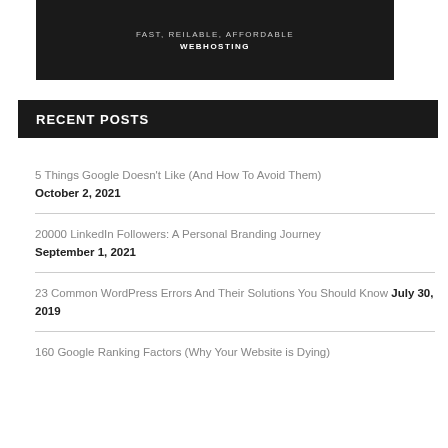[Figure (logo): Dark banner with text FAST, REILABLE, AFFORDABLE and WEBHOSTING]
RECENT POSTS
5 Things Google Doesn't Like (And How To Avoid Them) October 2, 2021
20000 LinkedIn Followers: A Personal Branding Journey September 1, 2021
23 Common WordPress Errors And Their Solutions You Should Know July 30, 2019
160 Google Ranking Factors (Why Your Website is Dying)